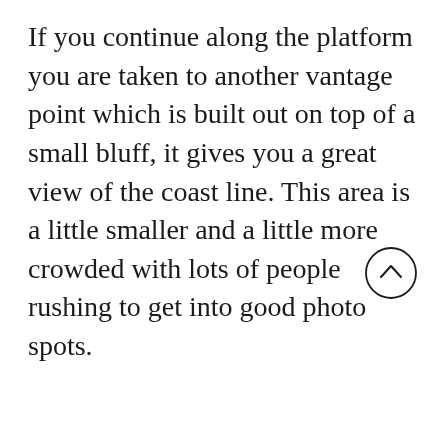If you continue along the platform you are taken to another vantage point which is built out on top of a small bluff, it gives you a great view of the coast line. This area is a little smaller and a little more crowded with lots of people rushing to get into good photo spots.
[Figure (other): A circular scroll-up button with a chevron/caret pointing upward, rendered as a circle with an upward-pointing angle symbol inside.]